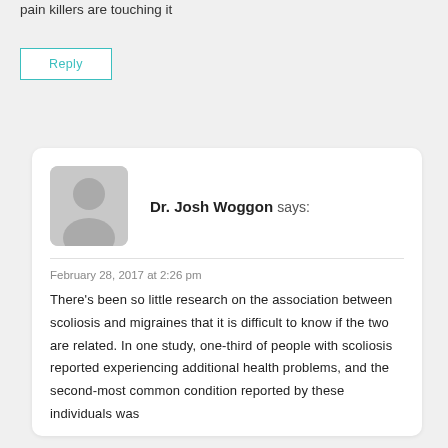pain killers are touching it
Reply
Dr. Josh Woggon says:
February 28, 2017 at 2:26 pm
There's been so little research on the association between scoliosis and migraines that it is difficult to know if the two are related. In one study, one-third of people with scoliosis reported experiencing additional health problems, and the second-most common condition reported by these individuals was